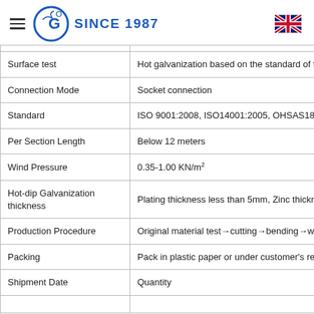SINCE 1987
| Property | Value |
| --- | --- |
| Surface test | Hot galvanization based on the standard of t... |
| Connection Mode | Socket connection |
| Standard | ISO 9001:2008, ISO14001:2005, OHSAS18... |
| Per Section Length | Below 12 meters |
| Wind Pressure | 0.35-1.00 KN/m² |
| Hot-dip Galvanization thickness | Plating thickness less than 5mm, Zinc thick... |
| Production Procedure | Original material test→cutting→bending→w... |
| Packing | Pack in plastic paper or under customer's re... |
| Shipment Date | Quantity |